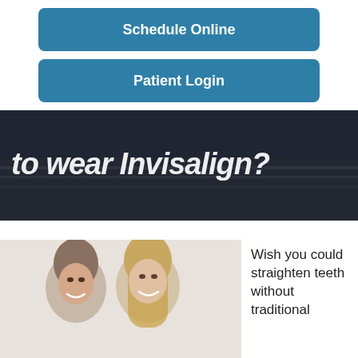Schedule Online
Patient Login
[Figure (photo): Dark outdoor scene with partial italic white text reading 'to wear Invisalign?' overlaid]
[Figure (photo): A smiling man and woman couple photographed together on a light background]
Wish you could straighten teeth without traditional